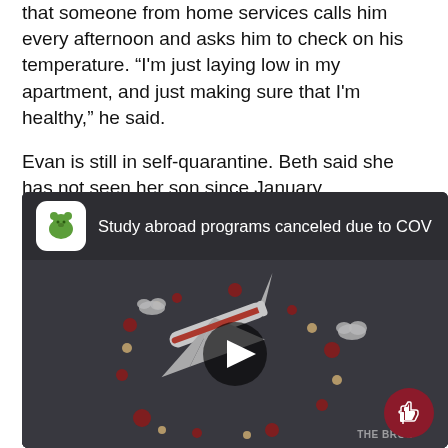that someone from home services calls him every afternoon and asks him to check on his temperature. "I'm just laying low in my apartment, and just making sure that I'm healthy," he said.
Evan is still in self-quarantine. Beth said she has not seen her son since January.
[Figure (screenshot): Embedded video thumbnail showing an animated airplane surrounded by COVID-19 virus particles, with a play button in the center. Video title reads 'Study abroad programs canceled due to COV...'. The video is from a news outlet with a bear icon logo. A like/thumbs-up button appears in the bottom right corner.]